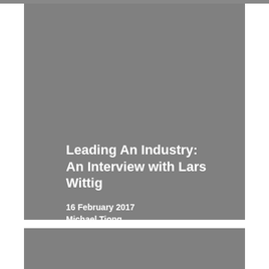Leading An Industry: An Interview with Lars Wittig
16 February 2017
Michael Tiong